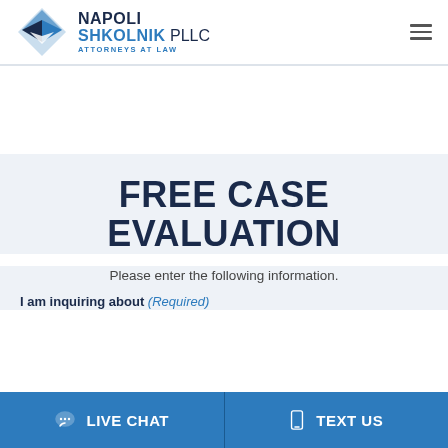Napoli Shkolnik PLLC Attorneys at Law
FREE CASE EVALUATION
Please enter the following information.
I am inquiring about (Required)
LIVE CHAT  TEXT US